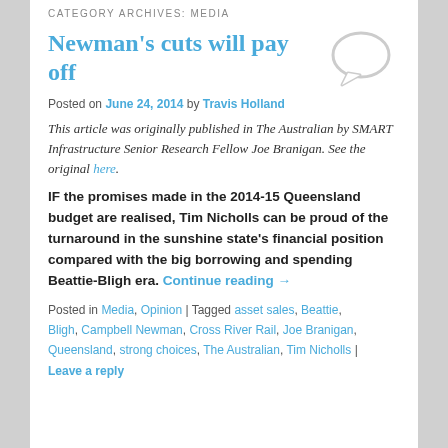CATEGORY ARCHIVES: MEDIA
Newman's cuts will pay off
Posted on June 24, 2014 by Travis Holland
This article was originally published in The Australian by SMART Infrastructure Senior Research Fellow Joe Branigan. See the original here.
IF the promises made in the 2014-15 Queensland budget are realised, Tim Nicholls can be proud of the turnaround in the sunshine state's financial position compared with the big borrowing and spending Beattie-Bligh era. Continue reading →
Posted in Media, Opinion | Tagged asset sales, Beattie, Bligh, Campbell Newman, Cross River Rail, Joe Branigan, Queensland, strong choices, The Australian, Tim Nicholls | Leave a reply